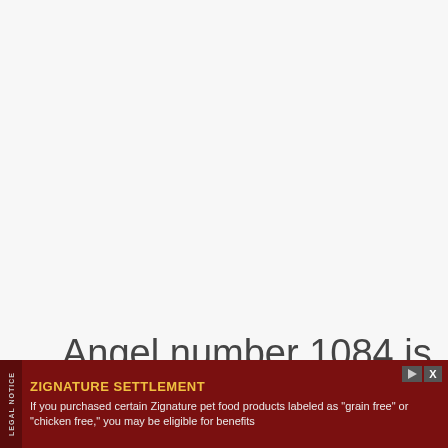Angel number 1084 is a powerful symbol indicating that you need to enjoy life to the fullest. You have all the skills and abilities necessary to live
[Figure (other): Advertisement banner for Zignature Settlement legal notice. Dark red/maroon background with 'LEGAL NOTICE' vertical bar on left. Headline: 'ZIGNATURE SETTLEMENT' in bold yellow. Body text: 'If you purchased certain Zignature pet food products labeled as "grain free" or "chicken free," you may be eligible for benefits'. Play and close buttons in top right.]